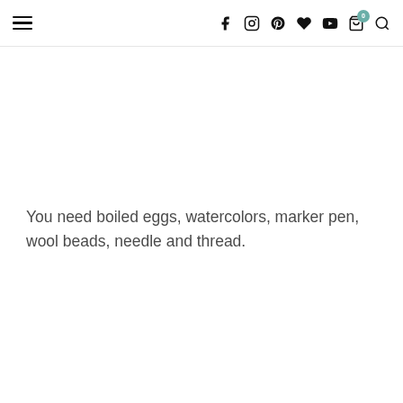[navigation bar with hamburger menu and social icons: Facebook, Instagram, Pinterest, heart/wishlist, YouTube, cart (badge: 0), search]
You need boiled eggs, watercolors, marker pen, wool beads, needle and thread.